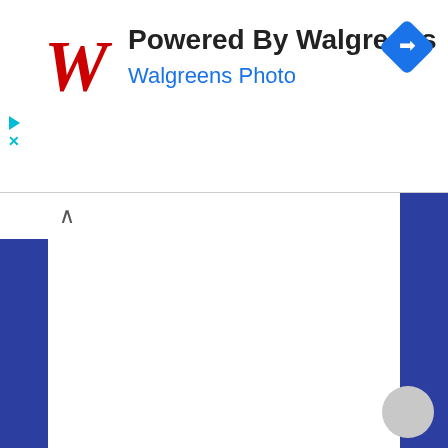[Figure (screenshot): Walgreens advertisement banner with red cursive W logo, 'Powered By Walgreens' title in dark text, 'Walgreens Photo' subtitle in blue, a blue diamond navigation icon in the top right, and small play/close ad controls on the left side.]
[Figure (screenshot): Web page content area below the ad banner. Blue vertical bars on left and right edges, white content area in the center, a tab/collapse button in the top left, and a gray circle button in the bottom right corner.]